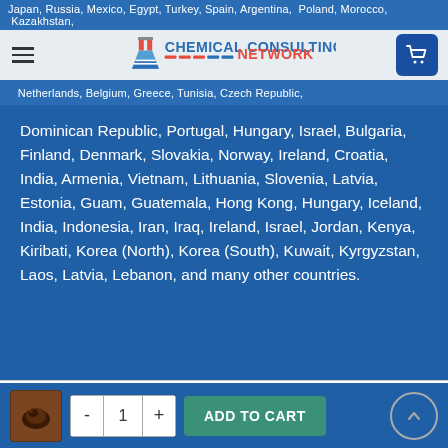Japan, Russia, Mexico, Egypt, Turkey, Spain, Argentina, Poland, Morocco, Kazakhstan, Netherlands, Belgium, Greece, Tunisia, Czech Republic,
Dominican Republic, Portugal, Hungary, Israel, Bulgaria, Finland, Denmark, Slovakia, Norway, Ireland, Croatia, India, Armenia, Vietnam, Lithuania, Slovenia, Latvia, Estonia, Guam, Guatemala, Hong Kong, Hungary, Iceland, India, Indonesia, Iran, Iraq, Ireland, Israel, Jordan, Kenya, Kiribati, Korea (North), Korea (South), Kuwait, Kyrgyzstan, Laos, Latvia, Lebanon, and many other countries.
RELATED PRODUCTS